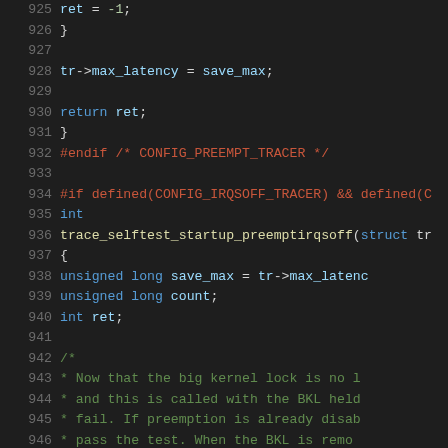[Figure (screenshot): Source code viewer showing C code lines 925-946, dark theme editor with syntax highlighting. Lines show end of a function returning ret, closing brace, #endif for CONFIG_PREEMPT_TRACER, then a new function trace_selftest_startup_preemptirqsoff with variable declarations and a comment block.]